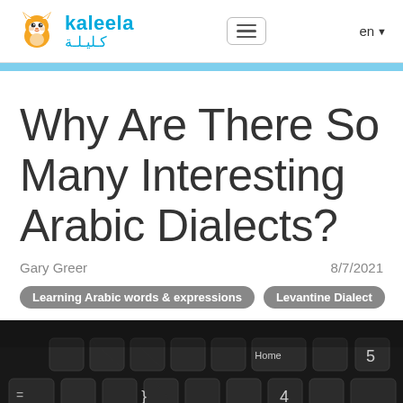kaleela كليلة — navigation header with hamburger menu and language selector (en)
Why Are There So Many Interesting Arabic Dialects?
Gary Greer    8/7/2021
Learning Arabic words & expressions
Levantine Dialect
[Figure (photo): Close-up photograph of a dark keyboard with keys visible including Home, 4, 5, and other keys]